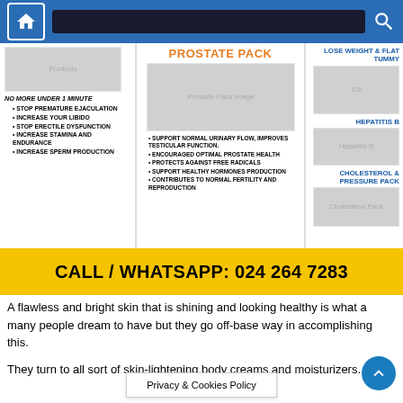Navigation bar with home icon and search icon
[Figure (infographic): Advertisement for health supplement products. Left panel: NO MORE UNDER 1 MINUTE with bullet points: STOP PREMATURE EJACULATION, INCREASE YOUR LIBIDO, STOP ERECTILE DYSFUNCTION, INCREASE STAMINA AND ENDURANCE, INCREASE SPERM PRODUCTION. Middle panel: PROSTATE PACK with bullet points: SUPPORT NORMAL URINARY FLOW, IMPROVES TESTICULAR FUNCTION. ENCOURAGED OPTIMAL PROSTATE HEALTH. PROTECTS AGAINST FREE RADICALS. SUPPORT HEALTHY HORMONES PRODUCTION. CONTRIBUTES TO NORMAL FERTILITY AND REPRODUCTION. Right panel: LOSE WEIGHT & FLAT TUMMY (C9), HEPATITIS B, CHOLESTEROL & PRESSURE PACK.]
CALL / WHATSAPP: 024 264 7283
A flawless and bright skin that is shining and looking healthy is what a many people dream to have but they go off-base way in accomplishing this.
They turn to all sort of skin-lightening body creams and moisturizers.
Privacy & Cookies Policy